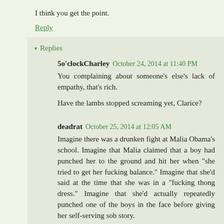I think you get the point.
Reply
▾ Replies
5o'clockCharley  October 24, 2014 at 11:40 PM
You complaining about someone's else's lack of empathy, that's rich.
Have the lambs stopped screaming yet, Clarice?
deadrat  October 25, 2014 at 12:05 AM
Imagine there was a drunken fight at Malia Obama's school. Imagine that Malia claimed that a boy had punched her to the ground and hit her when "she tried to get her fucking balance." Imagine that she'd said at the time that she was in a "fucking thong dress." Imagine that she'd actually repeatedly punched one of the boys in the face before giving her self-serving sob story.